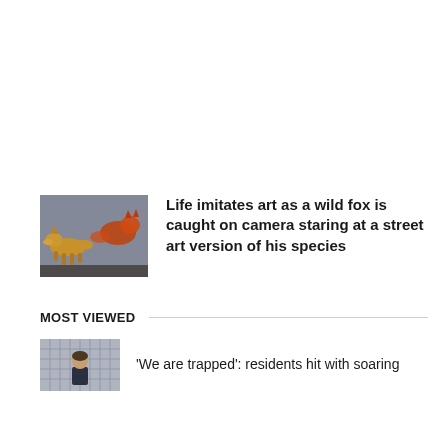[Figure (photo): A real fox facing a street art mural of a fox painted on a wall]
Life imitates art as a wild fox is caught on camera staring at a street art version of his species
MOST VIEWED
[Figure (photo): A man standing in front of a building with a brick or tile facade]
'We are trapped': residents hit with soaring